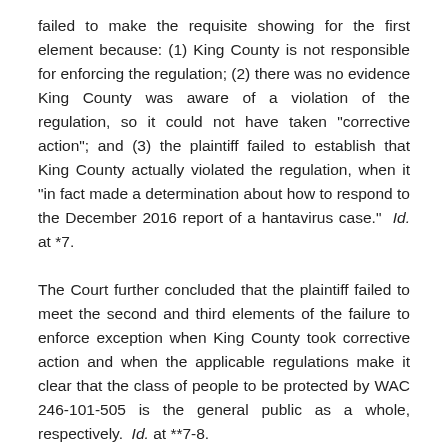failed to make the requisite showing for the first element because: (1) King County is not responsible for enforcing the regulation; (2) there was no evidence King County was aware of a violation of the regulation, so it could not have taken "corrective action"; and (3) the plaintiff failed to establish that King County actually violated the regulation, when it "in fact made a determination about how to respond to the December 2016 report of a hantavirus case."  Id. at *7.
The Court further concluded that the plaintiff failed to meet the second and third elements of the failure to enforce exception when King County took corrective action and when the applicable regulations make it clear that the class of people to be protected by WAC 246-101-505 is the general public as a whole, respectively.  Id. at **7-8.